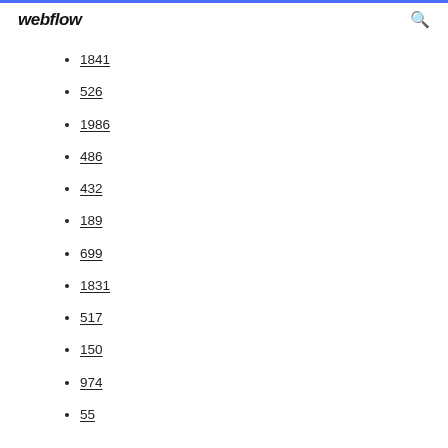webflow
1841
526
1986
486
432
189
699
1831
517
150
974
55